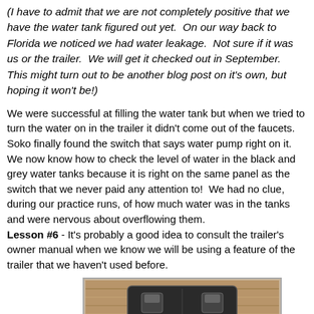(I have to admit that we are not completely positive that we have the water tank figured out yet.  On our way back to Florida we noticed we had water leakage.  Not sure if it was us or the trailer.  We will get it checked out in September.  This might turn out to be another blog post on it's own, but hoping it won't be!)
We were successful at filling the water tank but when we tried to turn the water on in the trailer it didn't come out of the faucets.  Soko finally found the switch that says water pump right on it.  We now know how to check the level of water in the black and grey water tanks because it is right on the same panel as the switch that we never paid any attention to!  We had no clue, during our practice runs, of how much water was in the tanks and were nervous about overflowing them.
Lesson #6 - It's probably a good idea to consult the trailer's owner manual when we know we will be using a feature of the trailer that we haven't used before.
[Figure (photo): A photo showing the interior panel of an RV trailer, likely showing a control panel with switches, set against a wood-grain background.]